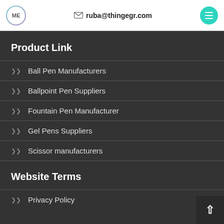ME  ruba@thingegr.com
Product Link
Ball Pen Manufacturers
Ballpoint Pen Suppliers
Fountain Pen Manufacturer
Gel Pens Suppliers
Scissor manufacturers
Website Terms
Privacy Policy